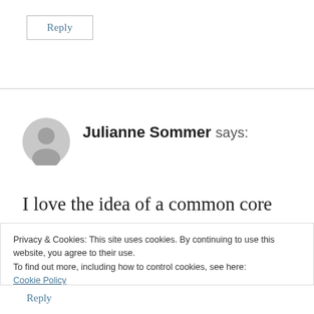Reply
[Figure (illustration): Gray circular user avatar icon]
Julianne Sommer says:
I love the idea of a common core input form for teachers. I definitely agree that it would make my life easier when it comes to IEP
Privacy & Cookies: This site uses cookies. By continuing to use this website, you agree to their use.
To find out more, including how to control cookies, see here:
Cookie Policy
Close and accept
Reply